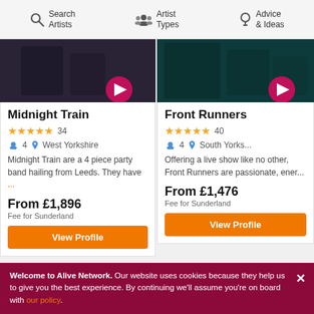Search Artists | Artist Types | Advice & Ideas
Midnight Train
★★★★★ 34
4  West Yorkshire
Midnight Train are a 4 piece party band hailing from Leeds. They have ...
From £1,896
Fee for Sunderland
View Profile
Front Runners
★★★★★ 40
4  South Yorks...
Offering a live show like no other, Front Runners are passionate, ener...
From £1,476
Fee for Sunderland
View Profile
Welcome to Alive Network. Our website uses cookies because they help us to give you the best experience. By continuing we'll assume you're on board with our policy.